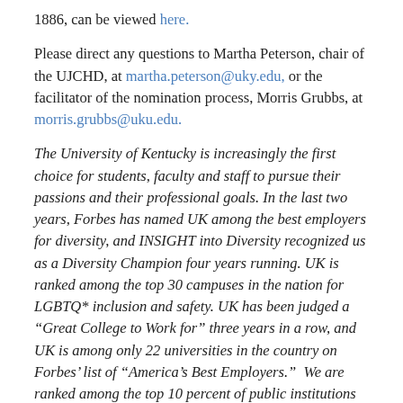1886, can be viewed here.
Please direct any questions to Martha Peterson, chair of the UJCHD, at martha.peterson@uky.edu, or the facilitator of the nomination process, Morris Grubbs, at morris.grubbs@uku.edu.
The University of Kentucky is increasingly the first choice for students, faculty and staff to pursue their passions and their professional goals. In the last two years, Forbes has named UK among the best employers for diversity, and INSIGHT into Diversity recognized us as a Diversity Champion four years running. UK is ranked among the top 30 campuses in the nation for LGBTQ* inclusion and safety. UK has been judged a “Great College to Work for” three years in a row, and UK is among only 22 universities in the country on Forbes’ list of “America’s Best Employers.”  We are ranked among the top 10 percent of public institutions for research expenditures — a tangible symbol of our breadth and depth as a university focused on discovery that changes lives and communities. And our patients know and